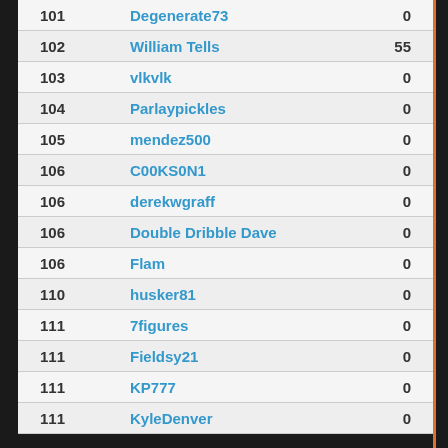| Rank | Name | Score |
| --- | --- | --- |
| 101 | Degenerate73 | 0 |
| 102 | William Tells | 55 |
| 103 | vlkvlk | 0 |
| 104 | Parlaypickles | 0 |
| 105 | mendez500 | 0 |
| 106 | C00KS0N1 | 0 |
| 106 | derekwgraff | 0 |
| 106 | Double Dribble Dave | 0 |
| 106 | Flam | 0 |
| 110 | husker81 | 0 |
| 111 | 7figures | 0 |
| 111 | Fieldsy21 | 0 |
| 111 | KP777 | 0 |
| 111 | KyleDenver | 0 |